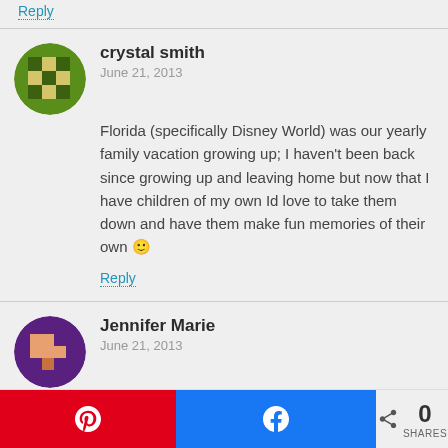Reply
crystal smith
June 21, 2013
Florida (specifically Disney World) was our yearly family vacation growing up; I haven't been back since growing up and leaving home but now that I have children of my own Id love to take them down and have them make fun memories of their own 🙂
Reply
Jennifer Marie
June 21, 2013
Wow I love going to Florida. The water is beautiful and so is the weather.
Reply